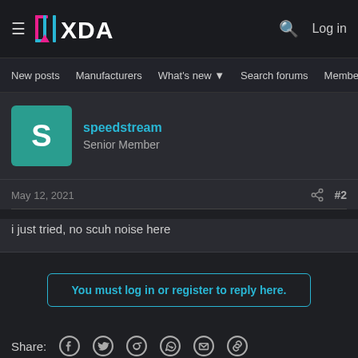XDA Developers — Log in
New posts  Manufacturers  What's new  Search forums  Members  >
speedstream
Senior Member
May 12, 2021  #2
i just tried, no scuh noise here
You must log in or register to reply here.
Share: